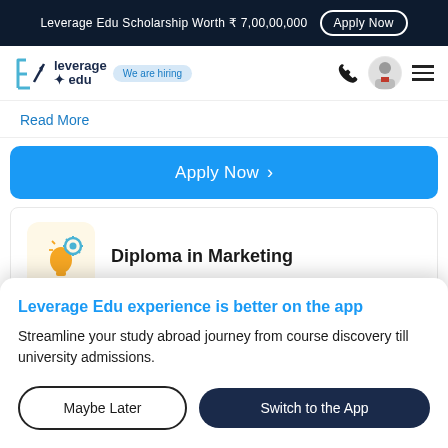Leverage Edu Scholarship Worth ₹ 7,00,00,000  Apply Now
[Figure (logo): Leverage Edu logo with rocket icon and 'We are hiring' badge]
Read More
Apply Now >
Diploma in Marketing
Leverage Edu experience is better on the app
Streamline your study abroad journey from course discovery till university admissions.
Maybe Later
Switch to the App